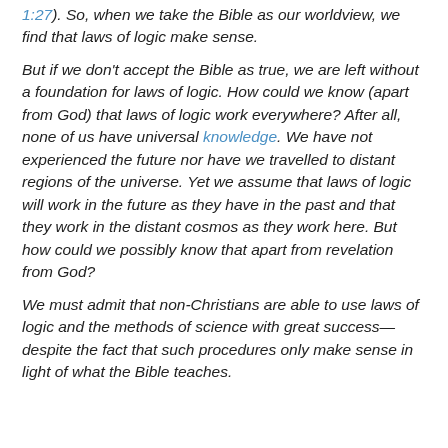1:27). So, when we take the Bible as our worldview, we find that laws of logic make sense.
But if we don't accept the Bible as true, we are left without a foundation for laws of logic. How could we know (apart from God) that laws of logic work everywhere? After all, none of us have universal knowledge. We have not experienced the future nor have we travelled to distant regions of the universe. Yet we assume that laws of logic will work in the future as they have in the past and that they work in the distant cosmos as they work here. But how could we possibly know that apart from revelation from God?
We must admit that non-Christians are able to use laws of logic and the methods of science with great success—despite the fact that such procedures only make sense in light of what the Bible teaches.